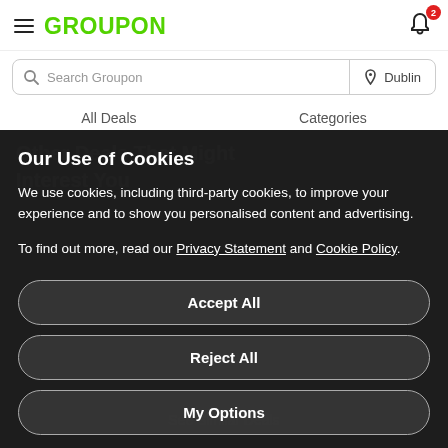GROUPON
Search Groupon | Dublin
All Deals   Categories
Our Use of Cookies
We use cookies, including third-party cookies, to improve your experience and to show you personalised content and advertising.
To find out more, read our Privacy Statement and Cookie Policy.
Accept All
Reject All
My Options